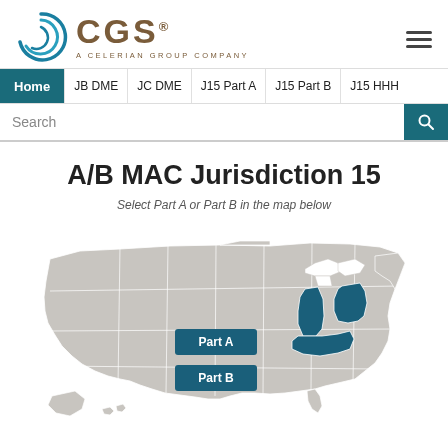[Figure (logo): CGS - A Celerian Group Company logo with circular teal graphic]
Home  JB DME  JC DME  J15 Part A  J15 Part B  J15 HHH
Search
A/B MAC Jurisdiction 15
Select Part A or Part B in the map below
[Figure (map): US map showing Jurisdiction 15 states (Ohio and Indiana/Kentucky area) highlighted in dark teal, with Part A and Part B labels]